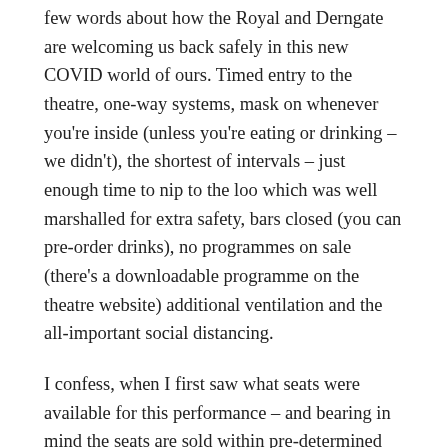few words about how the Royal and Derngate are welcoming us back safely in this new COVID world of ours. Timed entry to the theatre, one-way systems, mask on whenever you're inside (unless you're eating or drinking – we didn't), the shortest of intervals – just enough time to nip to the loo which was well marshalled for extra safety, bars closed (you can pre-order drinks), no programmes on sale (there's a downloadable programme on the theatre website) additional ventilation and the all-important social distancing.
I confess, when I first saw what seats were available for this performance – and bearing in mind the seats are sold within pre-determined bubble groupings – we thought we'd opt for super safety and actually bought a bubble of three seats when there are only two of us. Selfish perhaps,